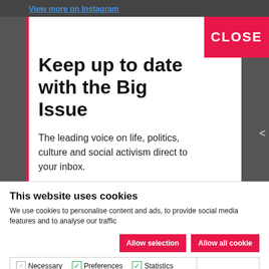View more on Instagram
Keep up to date with the Big Issue
The leading voice on life, politics, culture and social activism direct to your inbox.
This website uses cookies
We use cookies to personalise content and ads, to provide social media features and to analyse our traffic
Allow selection
Allow all cookie
Necessary  Preferences  Statistics  Marketing  Show details